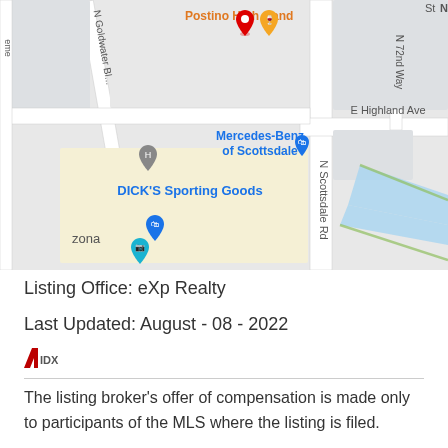[Figure (map): Google Maps screenshot showing area near N Scottsdale Rd and E Highland Ave in Scottsdale, AZ. Shows landmarks including Postino Highland, Mercedes-Benz of Scottsdale, DICK'S Sporting Goods, N Goldwater Blvd, N 72nd Way. A blue waterway runs diagonally in the lower right. A red map pin is visible near Postino Highland.]
Listing Office: eXp Realty
Last Updated: August - 08 - 2022
The listing broker's offer of compensation is made only to participants of the MLS where the listing is filed.